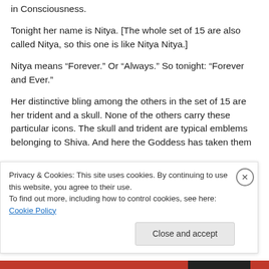in Consciousness.
Tonight her name is Nitya. [The whole set of 15 are also called Nitya, so this one is like Nitya Nitya.]
Nitya means “Forever.” Or “Always.” So tonight: “Forever and Ever.”
Her distinctive bling among the others in the set of 15 are her trident and a skull. None of the others carry these particular icons. The skull and trident are typical emblems belonging to Shiva. And here the Goddess has taken them
Privacy & Cookies: This site uses cookies. By continuing to use this website, you agree to their use.
To find out more, including how to control cookies, see here: Cookie Policy
Close and accept